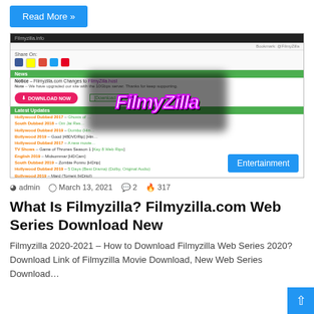[Figure (screenshot): Screenshot of Filmyzilla.info website showing nav bar, social share icons, news notices, a pink Download Now button, Latest Updates green bar, movie category list, and a large FilmyZilla watermark overlay over the content]
Entertainment
admin  March 13, 2021  2  317
What Is Filmyzilla? Filmyzilla.com Web Series Download New
Filmyzilla 2020-2021 – How to Download Filmyzilla Web Series 2020? Download Link of Filmyzilla Movie Download, New Web Series Download…